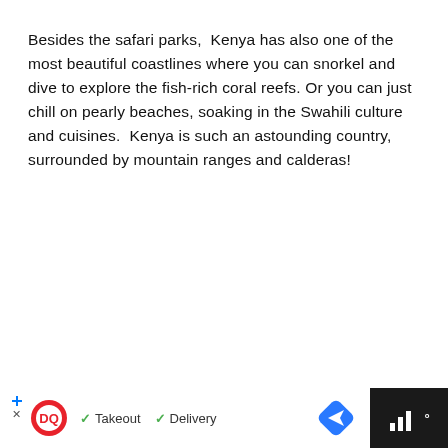Besides the safari parks,  Kenya has also one of the most beautiful coastlines where you can snorkel and dive to explore the fish-rich coral reefs. Or you can just chill on pearly beaches, soaking in the Swahili culture and cuisines.  Kenya is such an astounding country, surrounded by mountain ranges and calderas!
[Figure (other): Advertisement banner at the bottom: dark background with Dairy Queen logo, checkmarks for Takeout and Delivery, a blue map/direction icon, and a weather widget on the right side showing bars and a degree symbol.]